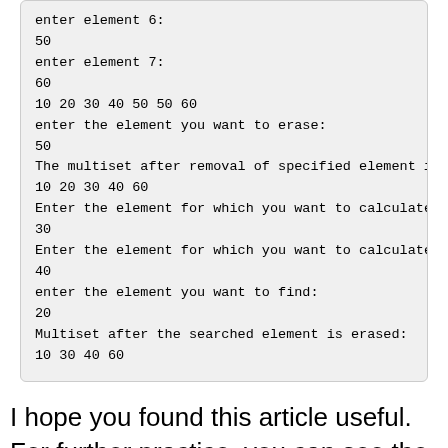[Figure (screenshot): Code output block showing multiset operations: element entry, display, erase, calculate, find operations with results]
I hope you found this article useful. For further practice, you can see the other methods for multiset, like swap, clear, etc. That will enhance your grasp on multiset.